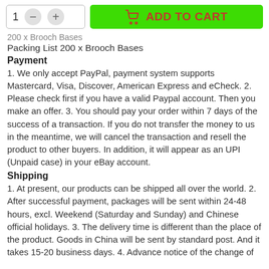[Figure (other): E-commerce add to cart UI: quantity selector showing '1' with minus and plus buttons, and a green 'ADD TO CART' button with a shopping bag icon]
200 x Brooch Bases
Packing List 200 x Brooch Bases
Payment
1. We only accept PayPal, payment system supports Mastercard, Visa, Discover, American Express and eCheck. 2. Please check first if you have a valid Paypal account. Then you make an offer. 3. You should pay your order within 7 days of the success of a transaction. If you do not transfer the money to us in the meantime, we will cancel the transaction and resell the product to other buyers. In addition, it will appear as an UPI (Unpaid case) in your eBay account.
Shipping
1. At present, our products can be shipped all over the world. 2. After successful payment, packages will be sent within 24-48 hours, excl. Weekend (Saturday and Sunday) and Chinese official holidays. 3. The delivery time is different than the place of the product. Goods in China will be sent by standard post. And it takes 15-20 business days. 4. Advance notice of the change of